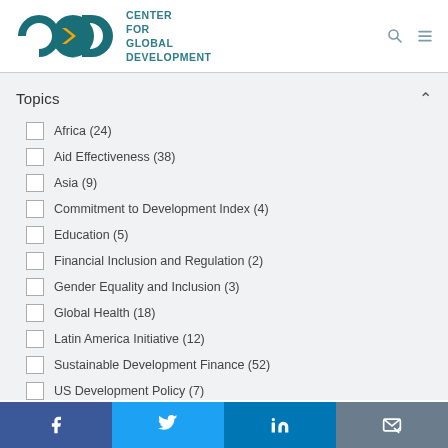[Figure (logo): CGD Center for Global Development logo with teal letters and yellow arrow]
Topics
Africa (24)
Aid Effectiveness (38)
Asia (9)
Commitment to Development Index (4)
Education (5)
Financial Inclusion and Regulation (2)
Gender Equality and Inclusion (3)
Global Health (18)
Latin America Initiative (12)
Sustainable Development Finance (52)
US Development Policy (7)
Facebook | Twitter | LinkedIn | Email